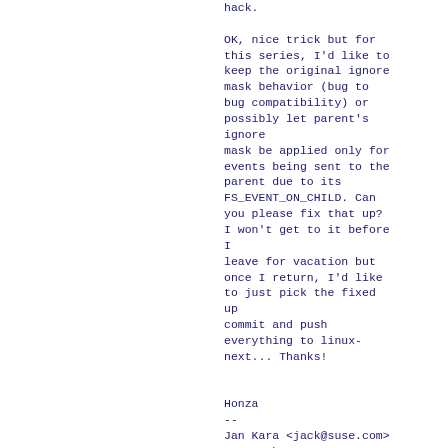hack.

OK, nice trick but for this series, I'd like to keep the original ignore mask behavior (bug to bug compatibility) or possibly let parent's ignore
mask be applied only for events being sent to the parent due to its FS_EVENT_ON_CHILD. Can you please fix that up? I won't get to it before I
leave for vacation but once I return, I'd like to just pick the fixed up
commit and push everything to linux-next... Thanks!


Honza
--
Jan Kara <jack@suse.com>
SUSE Labs, CR